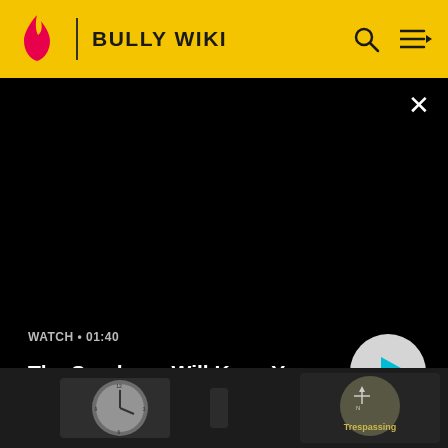BULLY WIKI
[Figure (screenshot): Video player panel on black background showing title 'The Sandman Will Keep You Awake - The Loop', watch time 01:40, with play button]
[Figure (screenshot): Game screenshot from Bully wiki showing a dark room with clocks on the wall and a Trespassing warning overlay]